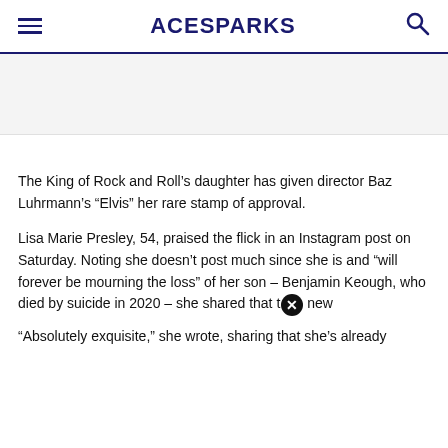ACESPARKS
The King of Rock and Roll’s daughter has given director Baz Luhrmann’s “Elvis” her rare stamp of approval.
Lisa Marie Presley, 54, praised the flick in an Instagram post on Saturday. Noting she doesn’t post much since she is and “will forever be mourning the loss” of her son – Benjamin Keough, who died by suicide in 2020 – she shared that t✕ new
“Absolutely exquisite,” she wrote, sharing that she’s already